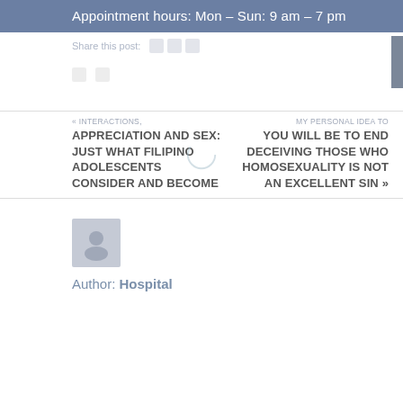Appointment hours: Mon – Sun: 9 am – 7 pm
Share this post:
« INTERACTIONS, APPRECIATION AND SEX: JUST WHAT FILIPINO ADOLESCENTS CONSIDER AND BECOME
MY PERSONAL IDEA TO YOU WILL BE TO END DECEIVING THOSE WHO HOMOSEXUALITY IS NOT AN EXCELLENT SIN »
Author: Hospital